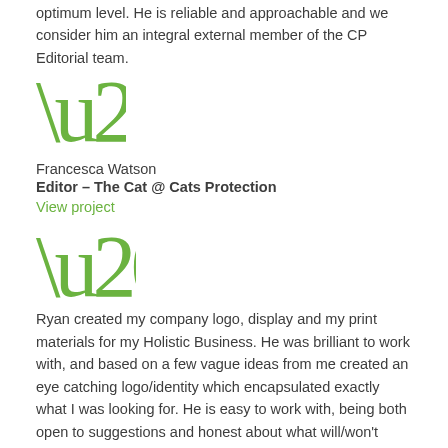optimum level. He is reliable and approachable and we consider him an integral external member of the CP Editorial team.
[Figure (illustration): Large green closing double quotation marks]
Francesca Watson
Editor – The Cat @ Cats Protection
View project
[Figure (illustration): Large green opening double quotation marks]
Ryan created my company logo, display and my print materials for my Holistic Business. He was brilliant to work with, and based on a few vague ideas from me created an eye catching logo/identity which encapsulated exactly what I was looking for. He is easy to work with, being both open to suggestions and honest about what will/won't work and why. I have had great feedback on my logo and materials from both clients and